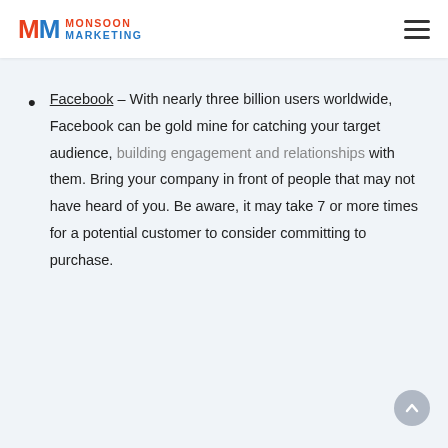Monsoon Marketing
Facebook – With nearly three billion users worldwide, Facebook can be gold mine for catching your target audience, building engagement and relationships with them. Bring your company in front of people that may not have heard of you. Be aware, it may take 7 or more times for a potential customer to consider committing to purchase.